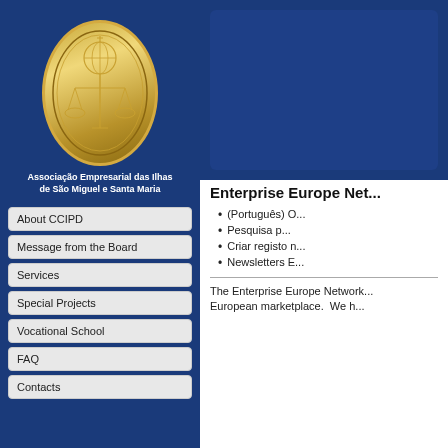[Figure (logo): Oval logo of Câmara do Comércio e Indústria de Ponta Delgada with scales of justice and globe emblem in gold on blue background]
Associação Empresarial das Ilhas de São Miguel e Santa Maria
About CCIPD
Message from the Board
Services
Special Projects
Vocational School
FAQ
Contacts
[Figure (screenshot): Blue banner/image area at the top right of the page]
Enterprise Europe Net...
(Português) O...
Pesquisa p...
Criar registo n...
Newsletters E...
The Enterprise Europe Network... European marketplace. We h...